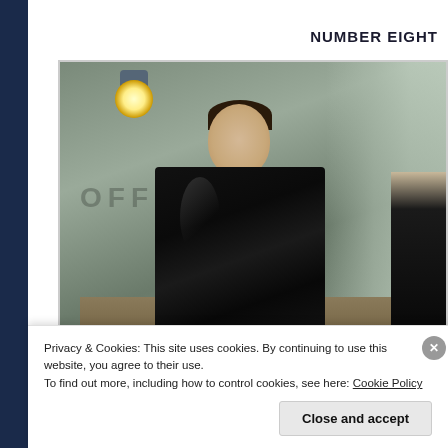NUMBER EIGHT
[Figure (photo): A man in a black leather jacket standing in what appears to be a film still or movie screenshot. There is a light fixture on the wall behind him, text on the wall reading 'OFFI...' (partially visible), and another figure visible on the right edge. A desk or table is visible in the lower portion.]
Privacy & Cookies: This site uses cookies. By continuing to use this website, you agree to their use.
To find out more, including how to control cookies, see here: Cookie Policy
Close and accept